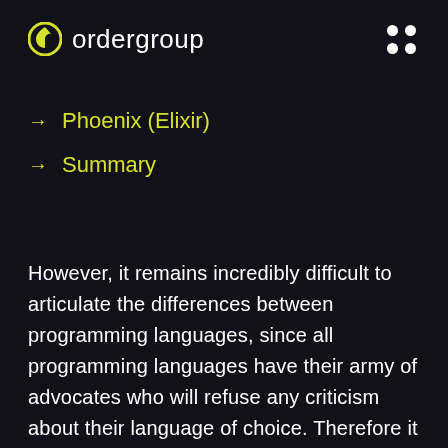ordergroup
→ Phoenix (Elixir)
→ Summary
However, it remains incredibly difficult to articulate the differences between programming languages, since all programming languages have their army of advocates who will refuse any criticism about their language of choice. Therefore it seems to be crucial not only to understand